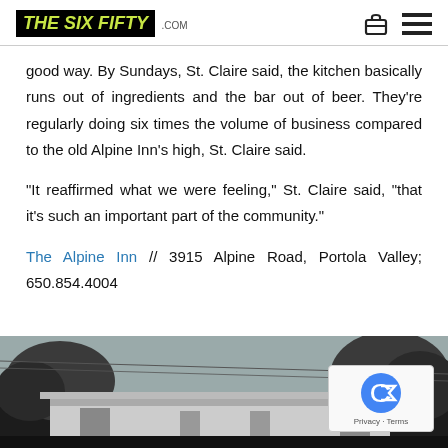THE SIX FIFTY .COM
good way. By Sundays, St. Claire said, the kitchen basically runs out of ingredients and the bar out of beer. They're regularly doing six times the volume of business compared to the old Alpine Inn's high, St. Claire said.
“It reaffirmed what we were feeling,” St. Claire said, “that it’s such an important part of the community.”
The Alpine Inn // 3915 Alpine Road, Portola Valley; 650.854.4004
[Figure (photo): Black and white photo of a building (Alpine Inn) with trees in the background and power lines visible]